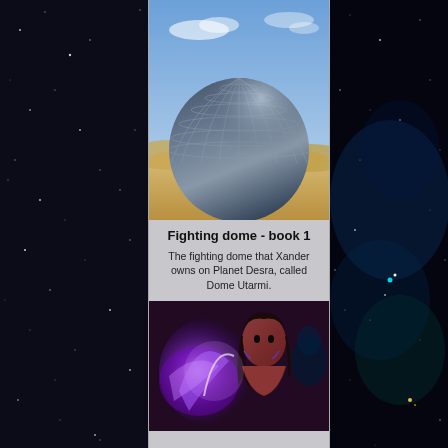[Figure (illustration): Space starfield background on left side]
[Figure (illustration): Space starfield background on right side with nebula and bright stars]
[Figure (illustration): 3D rendered dome structure (Dome Utarmi) on a desert planet with blue sky and sand dunes]
Fighting dome - book 1
The fighting dome that Xander owns on Planet Desra, called Dome Utarmi.
[Figure (illustration): Fantasy/sci-fi female character with glowing purple energy, red tones, dark hair, tattoos]